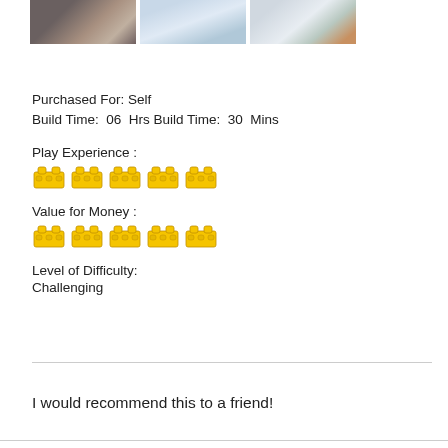[Figure (photo): Three photos of LEGO builds displayed in a row at the top of the page]
Purchased For: Self
Build Time:  06  Hrs Build Time:  30  Mins
Play Experience :
[Figure (infographic): Five yellow LEGO brick icons representing Play Experience rating (5 out of 5)]
Value for Money :
[Figure (infographic): Five yellow LEGO brick icons representing Value for Money rating (5 out of 5)]
Level of Difficulty:
Challenging
I would recommend this to a friend!